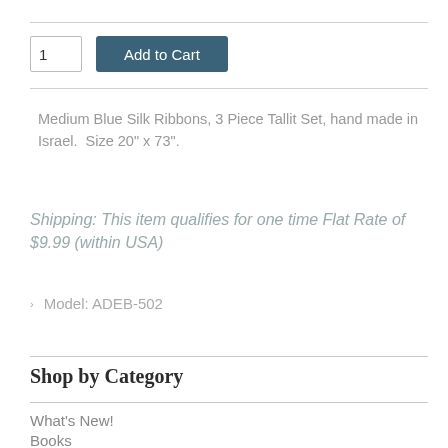[Figure (screenshot): Quantity input box showing '1' and an 'Add to Cart' button in dark teal/blue]
Medium Blue Silk Ribbons, 3 Piece Tallit Set, hand made in Israel.  Size 20" x 73".
Shipping: This item qualifies for one time Flat Rate of $9.99 (within USA)
Model: ADEB-502
Shop by Category
What's New!
Books